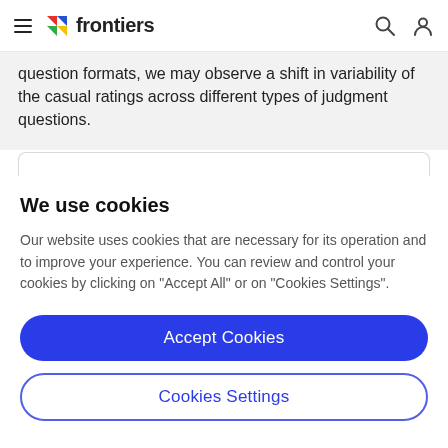frontiers
question formats, we may observe a shift in variability of the casual ratings across different types of judgment questions.
We use cookies
Our website uses cookies that are necessary for its operation and to improve your experience. You can review and control your cookies by clicking on "Accept All" or on "Cookies Settings".
Accept Cookies
Cookies Settings